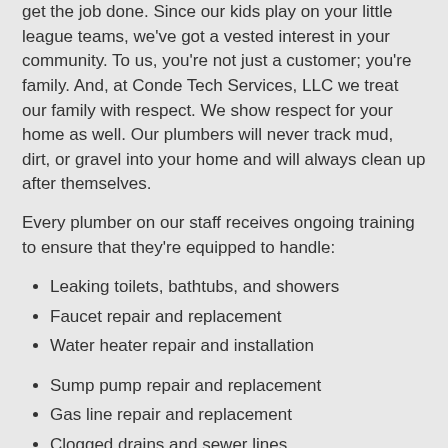get the job done. Since our kids play on your little league teams, we've got a vested interest in your community. To us, you're not just a customer; you're family. And, at Conde Tech Services, LLC we treat our family with respect. We show respect for your home as well. Our plumbers will never track mud, dirt, or gravel into your home and will always clean up after themselves.
Every plumber on our staff receives ongoing training to ensure that they're equipped to handle:
Leaking toilets, bathtubs, and showers
Faucet repair and replacement
Water heater repair and installation
Sump pump repair and replacement
Gas line repair and replacement
Clogged drains and sewer lines
If you're interested in learning more about your home's plumbing and sewer systems, feel free to take a look: